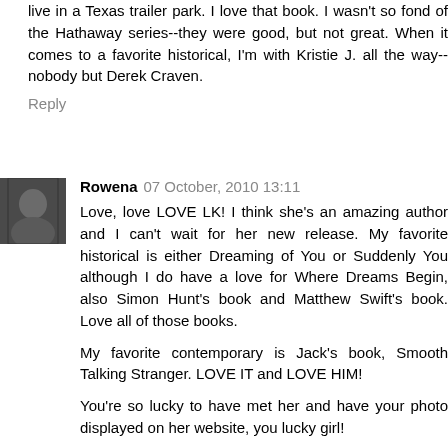live in a Texas trailer park. I love that book. I wasn't so fond of the Hathaway series--they were good, but not great. When it comes to a favorite historical, I'm with Kristie J. all the way--nobody but Derek Craven.
Reply
Rowena 07 October, 2010 13:11
Love, love LOVE LK! I think she's an amazing author and I can't wait for her new release. My favorite historical is either Dreaming of You or Suddenly You although I do have a love for Where Dreams Begin, also Simon Hunt's book and Matthew Swift's book. Love all of those books.
My favorite contemporary is Jack's book, Smooth Talking Stranger. LOVE IT and LOVE HIM!
You're so lucky to have met her and have your photo displayed on her website, you lucky girl!
Reply